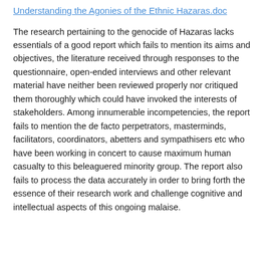Understanding the Agonies of the Ethnic Hazaras.doc
The research pertaining to the genocide of Hazaras lacks essentials of a good report which fails to mention its aims and objectives, the literature received through responses to the questionnaire, open-ended interviews and other relevant material have neither been reviewed properly nor critiqued them thoroughly which could have invoked the interests of stakeholders. Among innumerable incompetencies, the report fails to mention the de facto perpetrators, masterminds, facilitators, coordinators, abetters and sympathisers etc who have been working in concert to cause maximum human casualty to this beleaguered minority group. The report also fails to process the data accurately in order to bring forth the essence of their research work and challenge cognitive and intellectual aspects of this ongoing malaise.